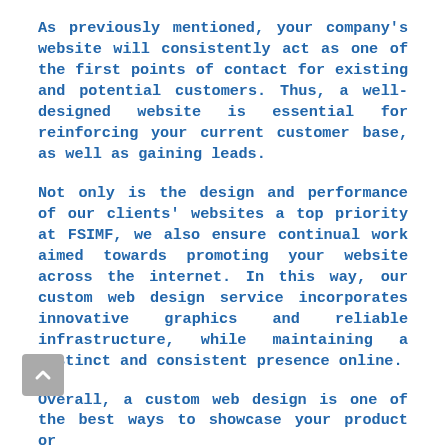As previously mentioned, your company's website will consistently act as one of the first points of contact for existing and potential customers. Thus, a well-designed website is essential for reinforcing your current customer base, as well as gaining leads.
Not only is the design and performance of our clients' websites a top priority at FSIMF, we also ensure continual work aimed towards promoting your website across the internet. In this way, our custom web design service incorporates innovative graphics and reliable infrastructure, while maintaining a distinct and consistent presence online.
Overall, a custom web design is one of the best ways to showcase your product or